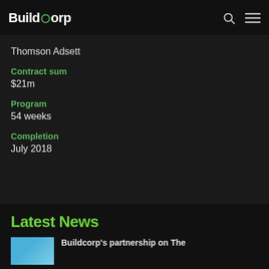Buildcorp
Thomson Adsett
Contract sum
$21m
Program
54 weeks
Completion
July 2018
Latest News
Buildcorp's partnership on The